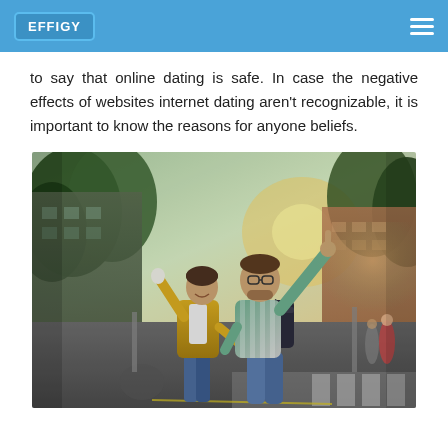EFFIGY
to say that online dating is safe. In case the negative effects of websites internet dating aren't recognizable, it is important to know the reasons for anyone beliefs.
[Figure (photo): A couple outdoors on a city street. A man with glasses and a striped shirt is pointing upward with one arm while holding hands with a woman in a yellow jacket who is smiling and also raising her arm. Trees and buildings are visible in the background.]